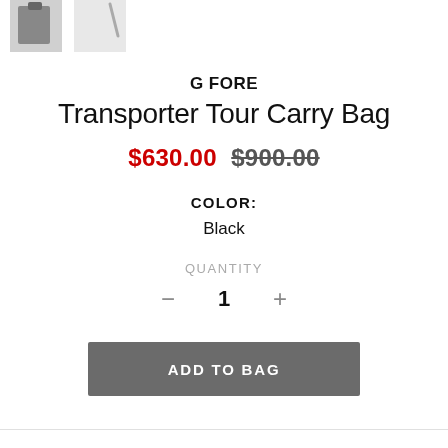[Figure (photo): Partial product thumbnail images of the G FORE Transporter Tour Carry Bag, cropped at top of page]
G FORE
Transporter Tour Carry Bag
$630.00 $900.00
COLOR:
Black
QUANTITY
- 1 +
ADD TO BAG